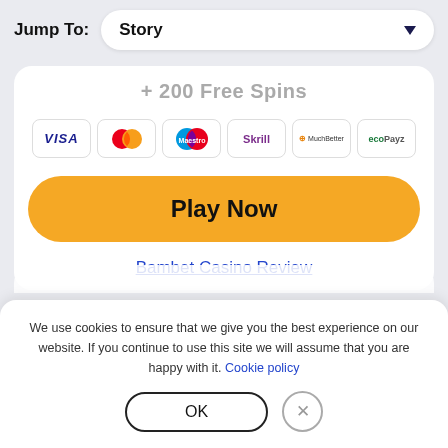Jump To: Story
+ 200 Free Spins
[Figure (other): Payment method icons: VISA, Mastercard, Maestro, Skrill, MuchBetter, ecoPayz]
Play Now
Bambet Casino Review
We use cookies to ensure that we give you the best experience on our website. If you continue to use this site we will assume that you are happy with it. Cookie policy
OK